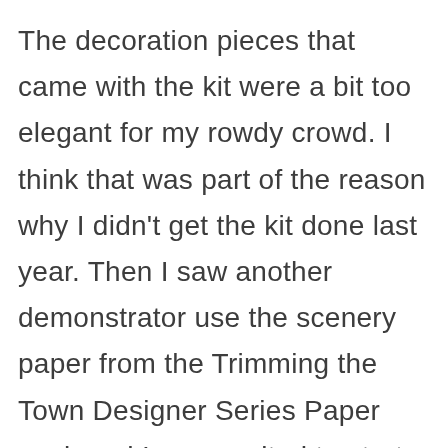The decoration pieces that came with the kit were a bit too elegant for my rowdy crowd. I think that was part of the reason why I didn't get the kit done last year. Then I saw another demonstrator use the scenery paper from the Trimming the Town Designer Series Paper pack and I was excited to start.